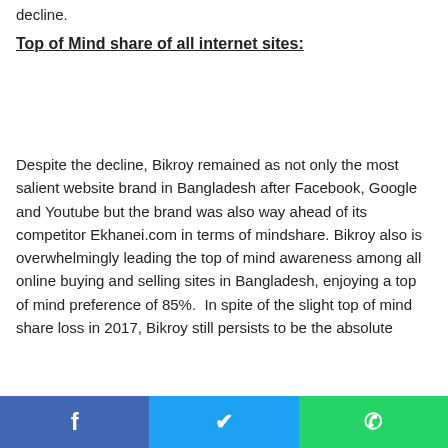decline.
Top of Mind share of all internet sites:
Despite the decline, Bikroy remained as not only the most salient website brand in Bangladesh after Facebook, Google and Youtube but the brand was also way ahead of its competitor Ekhanei.com in terms of mindshare. Bikroy also is overwhelmingly leading the top of mind awareness among all online buying and selling sites in Bangladesh, enjoying a top of mind preference of 85%.  In spite of the slight top of mind share loss in 2017, Bikroy still persists to be the absolute leader in its category ending that here in Bangladesh...
f  𝕏  WhatsApp